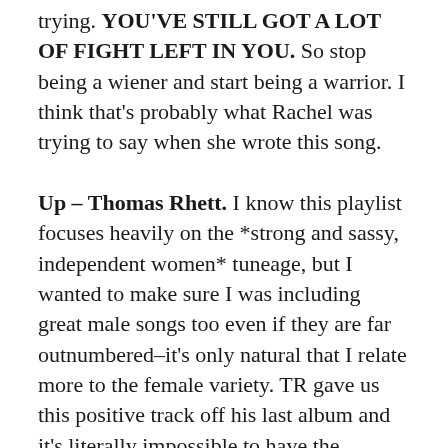trying. YOU'VE STILL GOT A LOT OF FIGHT LEFT IN YOU. So stop being a wiener and start being a warrior. I think that's probably what Rachel was trying to say when she wrote this song.
Up – Thomas Rhett. I know this playlist focuses heavily on the *strong and sassy, independent women* tuneage, but I wanted to make sure I was including great male songs too even if they are far outnumbered–it's only natural that I relate more to the female variety. TR gave us this positive track off his last album and it's literally impossible to have the